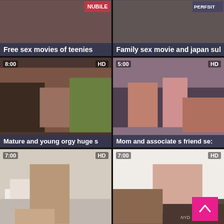[Figure (screenshot): Video thumbnail grid – top left: Free sex movies of teenies]
Free sex movies of teenies
[Figure (screenshot): Video thumbnail grid – top right: Family sex movie and japan sul]
Family sex movie and japan sul
[Figure (screenshot): Video thumbnail – 8:00 HD – Mature and young orgy huge s]
Mature and young orgy huge s
[Figure (screenshot): Video thumbnail – 5:00 HD – Mom and associate s friend se:]
Mom and associate s friend se:
[Figure (screenshot): Video thumbnail – 7:00 HD – Mature young creampie and m]
Mature young creampie and m
[Figure (screenshot): Video thumbnail – 7:00 HD – Young teen old man blowjob a]
Young teen old man blowjob a